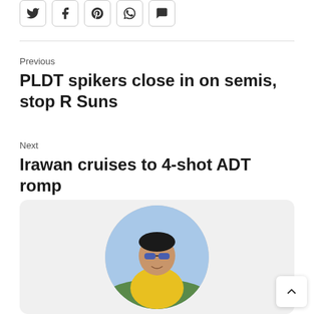[Figure (other): Row of social media share icon buttons: Twitter, Facebook, Pinterest, WhatsApp, and a chat/comments icon]
Previous
PLDT spikers close in on semis, stop R Suns
Next
Irawan cruises to 4-shot ADT romp
[Figure (photo): Circular profile photo of a man wearing sunglasses and a yellow shirt, outdoors with trees and sky in background]